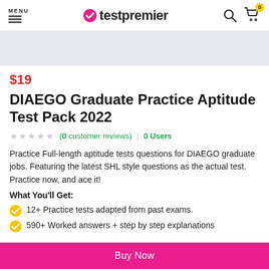MENU | testpremier
[Figure (other): Gray banner placeholder image area]
$19
DIAEGO Graduate Practice Aptitude Test Pack 2022
(0 customer reviews) | 0 Users
Practice Full-length aptitude tests questions for DIAEGO graduate jobs. Featuring the latest SHL style questions as the actual test. Practice now, and ace it!
What You'll Get:
12+ Practice tests adapted from past exams.
590+ Worked answers + step by step explanations
Buy Now